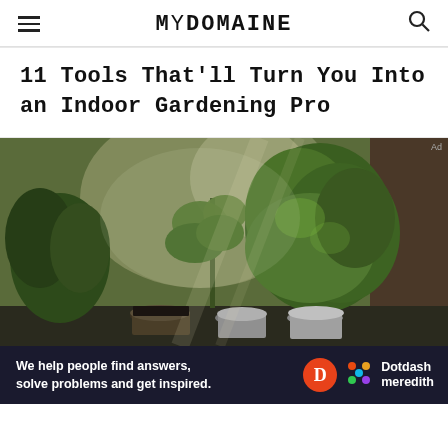MYDOMAINE
11 Tools That'll Turn You Into an Indoor Gardening Pro
[Figure (photo): Indoor herb garden with green basil and other plants in pots on a windowsill, sunlight streaming through the window]
We help people find answers, solve problems and get inspired. Dotdash meredith